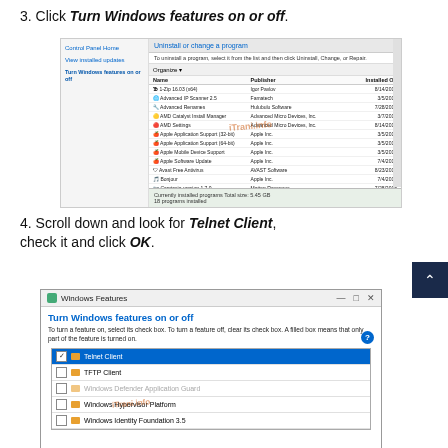3. Click Turn Windows features on or off.
[Figure (screenshot): Windows Control Panel showing 'Uninstall or change a program' with a list of installed programs including 1-Zip, Advanced IP Scanner, Advanced Renames, AMD Catalyst Install Manager, AMD Settings, Apple Application Support, Apple Mobile Device Support, Apple Software Update, Avast Free Antivirus, Bonjour, Camtasia version. Left sidebar shows Control Panel Home, View installed updates, and Turn Windows features on or off links.]
4. Scroll down and look for Telnet Client, check it and click OK.
[Figure (screenshot): Windows Features dialog showing 'Turn Windows features on or off' with a list of features including Telnet Client (checked and selected/highlighted in blue), TFTP Client (unchecked), Windows Defender Application Guard (unchecked, grayed), Windows Hypervisor Platform (unchecked), Windows Identity Foundation 3.5 (unchecked).]